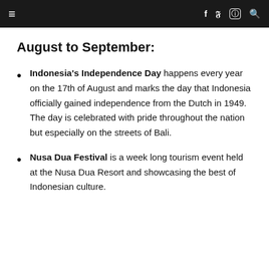≡  f  𝕥  ⊕  🔍
August to September:
Indonesia's Independence Day happens every year on the 17th of August and marks the day that Indonesia officially gained independence from the Dutch in 1949.  The day is celebrated with pride throughout the nation but especially on the streets of Bali.
Nusa Dua Festival is a week long tourism event held at the Nusa Dua Resort and showcasing the best of Indonesian culture.